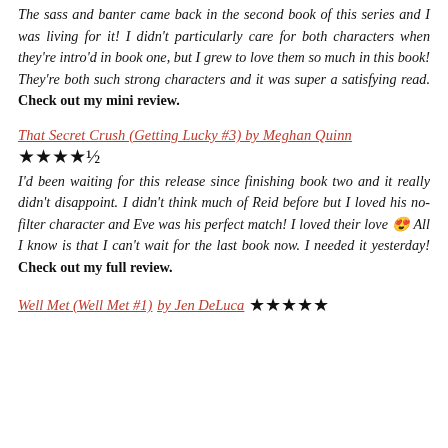The sass and banter came back in the second book of this series and I was living for it! I didn't particularly care for both characters when they're intro'd in book one, but I grew to love them so much in this book! They're both such strong characters and it was super a satisfying read. Check out my mini review.
That Secret Crush (Getting Lucky #3) by Meghan Quinn
★★★★½
I'd been waiting for this release since finishing book two and it really didn't disappoint. I didn't think much of Reid before but I loved his no-filter character and Eve was his perfect match! I loved their love 😍 All I know is that I can't wait for the last book now. I needed it yesterday! Check out my full review.
Well Met (Well Met #1) by Jen DeLuca ★★★★★